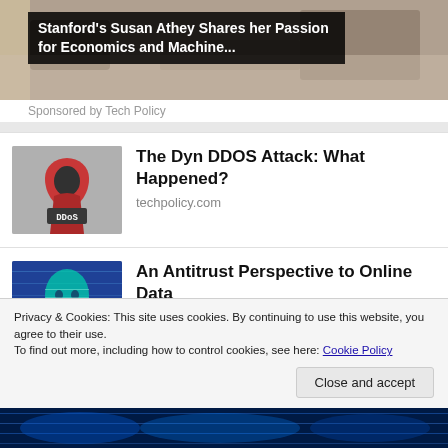[Figure (photo): Top banner showing a room interior, partially visible, with a dark overlay text box]
Stanford's Susan Athey Shares her Passion for Economics and Machine...
Sponsored by Tech Policy
[Figure (photo): Thumbnail image of a hooded figure in red with 'DDoS' text on the front, set against a matrix-like background]
The Dyn DDOS Attack: What Happened?
techpolicy.com
[Figure (photo): Thumbnail image of a blue digital human head silhouette against a data/code background]
An Antitrust Perspective to Online Data
Tech Policy
Privacy & Cookies: This site uses cookies. By continuing to use this website, you agree to their use.
To find out more, including how to control cookies, see here: Cookie Policy
Close and accept
[Figure (photo): Bottom strip showing partial image with blue digital/data background]